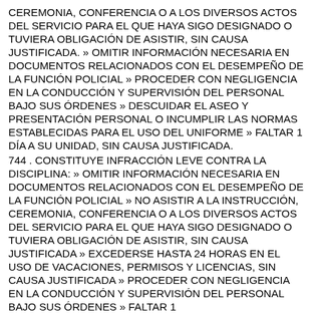CEREMONIA, CONFERENCIA O A LOS DIVERSOS ACTOS DEL SERVICIO PARA EL QUE HAYA SIGO DESIGNADO O TUVIERA OBLIGACIÓN DE ASISTIR, SIN CAUSA JUSTIFICADA. » OMITIR INFORMACIÓN NECESARIA EN DOCUMENTOS RELACIONADOS CON EL DESEMPEÑO DE LA FUNCIÓN POLICIAL » PROCEDER CON NEGLIGENCIA EN LA CONDUCCIÓN Y SUPERVISIÓN DEL PERSONAL BAJO SUS ÓRDENES » DESCUIDAR EL ASEO Y PRESENTACIÓN PERSONAL O INCUMPLIR LAS NORMAS ESTABLECIDAS PARA EL USO DEL UNIFORME » FALTAR 1 DÍA A SU UNIDAD, SIN CAUSA JUSTIFICADA.
744 . CONSTITUYE INFRACCIÓN LEVE CONTRA LA DISCIPLINA: » OMITIR INFORMACIÓN NECESARIA EN DOCUMENTOS RELACIONADOS CON EL DESEMPEÑO DE LA FUNCIÓN POLICIAL » NO ASISTIR A LA INSTRUCCIÓN, CEREMONIA, CONFERENCIA O A LOS DIVERSOS ACTOS DEL SERVICIO PARA EL QUE HAYA SIGO DESIGNADO O TUVIERA OBLIGACIÓN DE ASISTIR, SIN CAUSA JUSTIFICADA » EXCEDERSE HASTA 24 HORAS EN EL USO DE VACACIONES, PERMISOS Y LICENCIAS, SIN CAUSA JUSTIFICADA » PROCEDER CON NEGLIGENCIA EN LA CONDUCCIÓN Y SUPERVISIÓN DEL PERSONAL BAJO SUS ÓRDENES » FALTAR 1